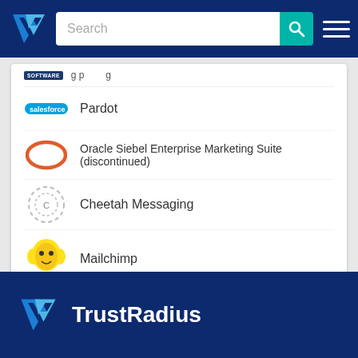TrustRadius navigation bar with Search
Pardot
Oracle Siebel Enterprise Marketing Suite (discontinued)
Cheetah Messaging
Mailchimp
HCL Unica
HubSpot Marketing Hub
TrustRadius